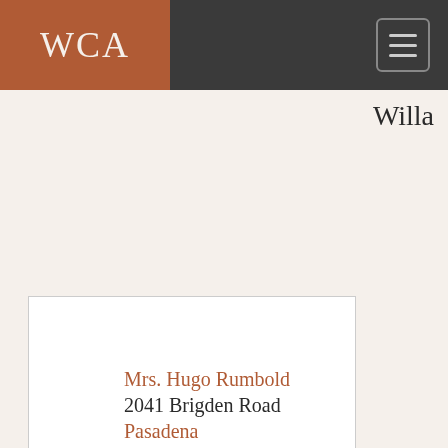WCA
Willa
[Figure (other): Letter envelope card with address details: Mrs. Hugo Rumbold, 2041 Brigden Road, Pasadena, California, with a postmark stamp: NEW YORK, N.Y. Apr 20 1936 1030 AM]